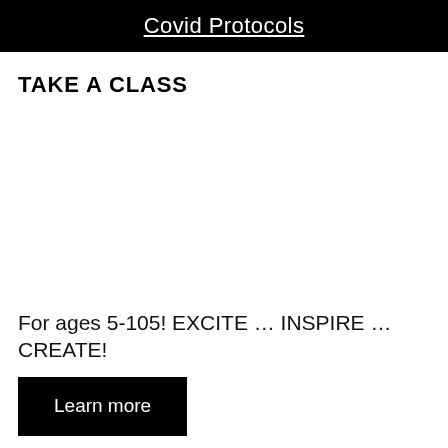Covid Protocols
TAKE A CLASS
For ages 5-105! EXCITE … INSPIRE … CREATE!
Learn more